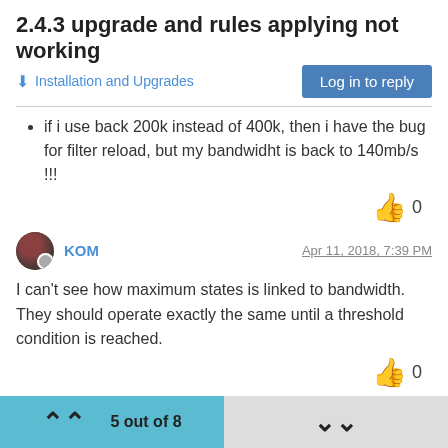2.4.3 upgrade and rules applying not working
Installation and Upgrades
if i use back 200k instead of 400k, then i have the bug for filter reload, but my bandwidht is back to 140mb/s !!!
KOM  Apr 11, 2018, 7:39 PM
I can't see how maximum states is linked to bandwidth.  They should operate exactly the same until a threshold condition is reached.
5 out of 8